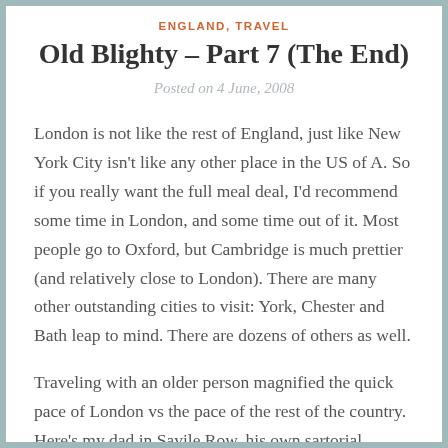ENGLAND, TRAVEL
Old Blighty – Part 7 (The End)
Posted on 4 June, 2008
London is not like the rest of England, just like New York City isn't like any other place in the US of A. So if you really want the full meal deal, I'd recommend some time in London, and some time out of it. Most people go to Oxford, but Cambridge is much prettier (and relatively close to London). There are many other outstanding cities to visit: York, Chester and Bath leap to mind. There are dozens of others as well.
Traveling with an older person magnified the quick pace of London vs the pace of the rest of the country. Here's my dad in Savile Row, his own sartorial splendour courtesy of the National Press Club, contemplating the